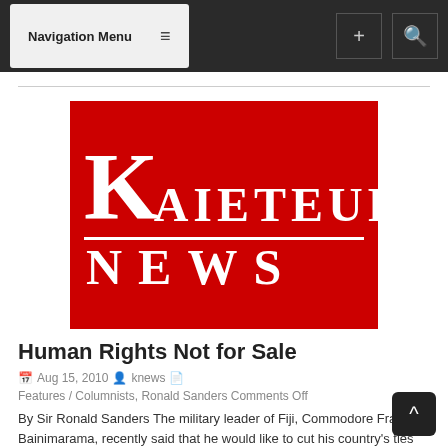Navigation Menu
[Figure (logo): Kaieteur News logo — large white K with AIETEUR text on red background, NEWS below with divider line]
Human Rights Not for Sale
Aug 15, 2010  knews  Features / Columnists, Ronald Sanders Comments Off
By Sir Ronald Sanders The military leader of Fiji, Commodore Frank Bainimarama, recently said that he would like to cut his country's ties